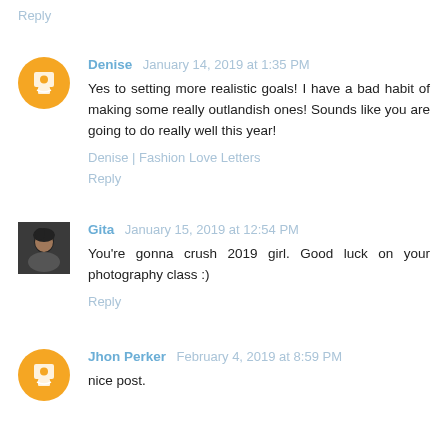Reply
Denise January 14, 2019 at 1:35 PM
Yes to setting more realistic goals! I have a bad habit of making some really outlandish ones! Sounds like you are going to do really well this year!
Denise | Fashion Love Letters
Reply
Gita January 15, 2019 at 12:54 PM
You're gonna crush 2019 girl. Good luck on your photography class :)
Reply
Jhon Perker February 4, 2019 at 8:59 PM
nice post.